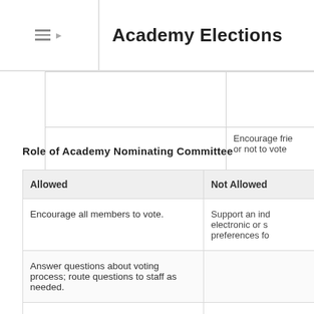Academy Elections
Encourage friends or not to vote
Role of Academy Nominating Committee
| Allowed | Not Allowed |
| --- | --- |
| Encourage all members to vote. | Support an individual electronic or s preferences fo |
| Answer questions about voting process; route questions to staff as needed. |  |
| Report all suspected campaign violations. |  |